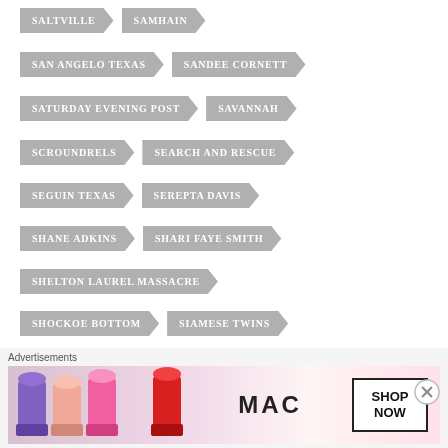SALTVILLE
SAMHAIN
SAN ANGELO TEXAS
SANDEE CORNETT
SATURDAY EVENING POST
SAVANNAH
SCROUNDRELS
SEARCH AND RESCUE
SEGUIN TEXAS
SEREPTA DAVIS
SHANE ADKINS
SHARI FAYE SMITH
SHELTON LAUREL MASSACRE
SHOCKOE BOTTOM
SIAMESE TWINS
SIDESHOWS
SIDNEY LASCELLES
SIDNEY STORY
SI GARRETT
SIMSITES
SIMS WAR
SIMS WAR ALABAMA
[Figure (illustration): MAC cosmetics advertisement banner with lipsticks, MAC logo, and SHOP NOW button]